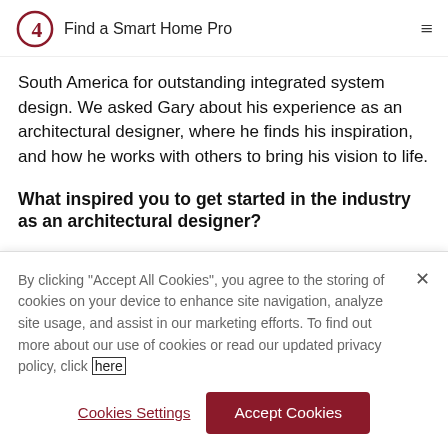Find a Smart Home Pro
South America for outstanding integrated system design. We asked Gary about his experience as an architectural designer, where he finds his inspiration, and how he works with others to bring his vision to life.
What inspired you to get started in the industry as an architectural designer?
By clicking "Accept All Cookies", you agree to the storing of cookies on your device to enhance site navigation, analyze site usage, and assist in our marketing efforts. To find out more about our use of cookies or read our updated privacy policy, click here
Cookies Settings | Accept Cookies